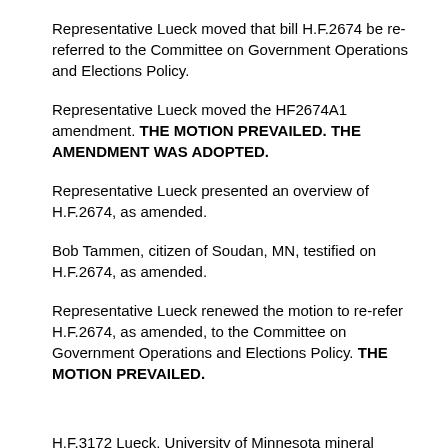Representative Lueck moved that bill H.F.2674 be re-referred to the Committee on Government Operations and Elections Policy.
Representative Lueck moved the HF2674A1 amendment. THE MOTION PREVAILED. THE AMENDMENT WAS ADOPTED.
Representative Lueck presented an overview of H.F.2674, as amended.
Bob Tammen, citizen of Soudan, MN, testified on H.F.2674, as amended.
Representative Lueck renewed the motion to re-refer H.F.2674, as amended, to the Committee on Government Operations and Elections Policy. THE MOTION PREVAILED.
H.F.3172 Lueck, University of Minnesota mineral research funding provided, and money appropriated.